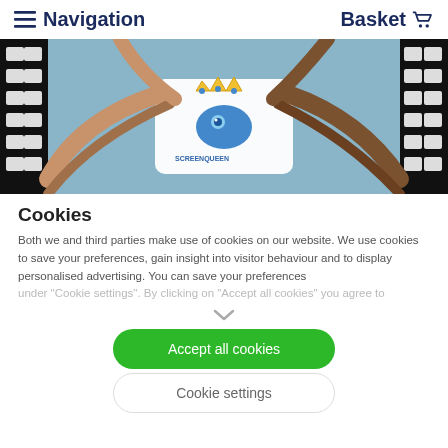Navigation  Basket
[Figure (photo): Hero image showing hands forming a circle around a logo/card with a crowned character and text, flanked by film strip borders on a light blue background.]
Cookies
Both we and third parties make use of cookies on our website. We use cookies to save your preferences, gain insight into visitor behaviour and to display personalised advertising. You can save your preferences under "Cookie settings". By clicking on "Accept all cookies" you agree to
Accept all cookies
Cookie settings